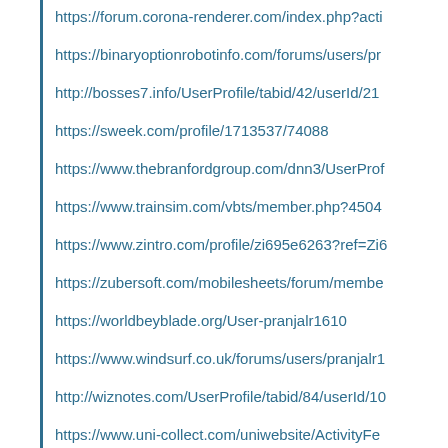https://forum.corona-renderer.com/index.php?acti
https://binaryoptionrobotinfo.com/forums/users/pr
http://bosses7.info/UserProfile/tabid/42/userId/21
https://sweek.com/profile/1713537/74088
https://www.thebranfordgroup.com/dnn3/UserProf
https://www.trainsim.com/vbts/member.php?4504
https://www.zintro.com/profile/zi695e6263?ref=Zi6
https://zubersoft.com/mobilesheets/forum/membe
https://worldbeyblade.org/User-pranjalr1610
https://www.windsurf.co.uk/forums/users/pranjalr1
http://wiznotes.com/UserProfile/tabid/84/userId/10
https://www.uni-collect.com/uniwebsite/ActivityFe
https://www.tuugo.us/userProfile/pranjalr1610/247